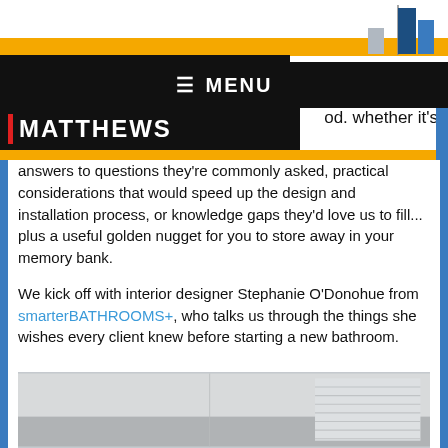[Figure (logo): Porter Matthews logo with bar chart icon, yellow bar, black background with PORTER text and MATTHEWS text in bold white, red vertical bar accent]
≡ MENU
od. whether it's answers to questions they're commonly asked, practical considerations that would speed up the design and installation process, or knowledge gaps they'd love us to fill... plus a useful golden nugget for you to store away in your memory bank.
We kick off with interior designer Stephanie O'Donohue from smarterBATHROOMS+, who talks us through the things she wishes every client knew before starting a new bathroom.
[Figure (photo): Bottom of page photo showing interior of a bathroom or room with grey walls and window with blinds]